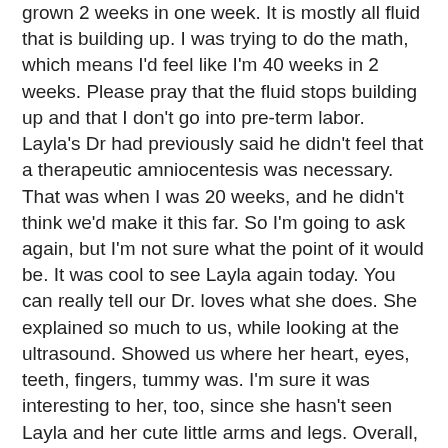grown 2 weeks in one week. It is mostly all fluid that is building up. I was trying to do the math, which means I'd feel like I'm 40 weeks in 2 weeks. Please pray that the fluid stops building up and that I don't go into pre-term labor. Layla's Dr had previously said he didn't feel that a therapeutic amniocentesis was necessary. That was when I was 20 weeks, and he didn't think we'd make it this far. So I'm going to ask again, but I'm not sure what the point of it would be. It was cool to see Layla again today. You can really tell our Dr. loves what she does. She explained so much to us, while looking at the ultrasound. Showed us where her heart, eyes, teeth, fingers, tummy was. I'm sure it was interesting to her, too, since she hasn't seen Layla and her cute little arms and legs. Overall, it was a good appointment.
My sister, Emily, is days away from having her little girl in Florida. Mom is there visiting and helping with Isabelle. We're anxiously awaiting news when she's born!
My sister, Sarah, is 2 weeks from her due date. We have the same Dr, and usually have our appointments on the same day. It's always nice to see her before my appointments. We